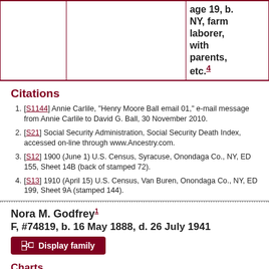|  |  |  |
| --- | --- | --- |
|  |  | age 19, b. NY, farm laborer, with parents, etc.4 |
Citations
[S1144] Annie Carlile, "Henry Moore Ball email 01," e-mail message from Annie Carlile to David G. Ball, 30 November 2010.
[S21] Social Security Administration, Social Security Death Index, accessed on-line through www.Ancestry.com.
[S12] 1900 (June 1) U.S. Census, Syracuse, Onondaga Co., NY, ED 155, Sheet 14B (back of stamped 72).
[S13] 1910 (April 15) U.S. Census, Van Buren, Onondaga Co., NY, ED 199, Sheet 9A (stamped 144).
Nora M. Godfrey1
F, #74819, b. 16 May 1888, d. 26 July 1941
Display family
Charts
Pedigree to immigrant Francis Ball of Springfield MA